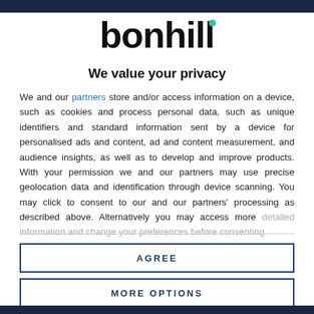[Figure (logo): Bonhill logo — bold sans-serif lowercase text 'bonhill' with a small teal/green dot above the letter 'i']
We value your privacy
We and our partners store and/or access information on a device, such as cookies and process personal data, such as unique identifiers and standard information sent by a device for personalised ads and content, ad and content measurement, and audience insights, as well as to develop and improve products. With your permission we and our partners may use precise geolocation data and identification through device scanning. You may click to consent to our and our partners' processing as described above. Alternatively you may access more detailed information and change your preferences before consenting
AGREE
MORE OPTIONS